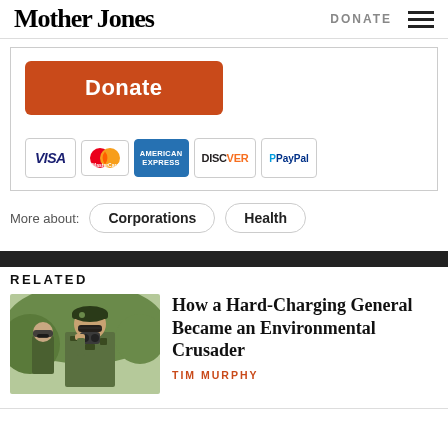Mother Jones | DONATE
[Figure (screenshot): Donate button (orange/red) and payment method icons: VISA, MasterCard, American Express, Discover, PayPal]
More about: Corporations  Health
RELATED
[Figure (photo): Military general in camouflage uniform and beret using binoculars outdoors]
How a Hard-Charging General Became an Environmental Crusader
TIM MURPHY